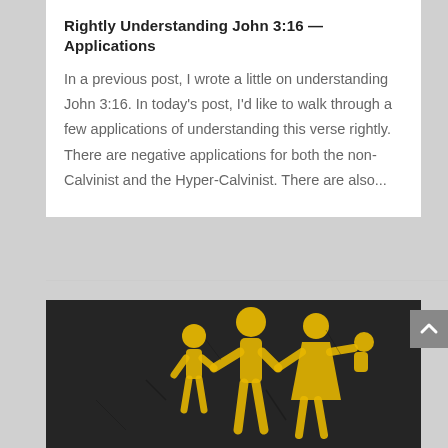Rightly Understanding John 3:16 — Applications
In a previous post, I wrote a little on understanding John 3:16. In today's post, I'd like to walk through a few applications of understanding this verse rightly. There are negative applications for both the non-Calvinist and the Hyper-Calvinist. There are also...
[Figure (photo): Yellow family pictogram icons painted on dark asphalt/pavement — showing a child, tall adult (father), woman holding a baby — a standard family road marking in yellow with cracked texture.]